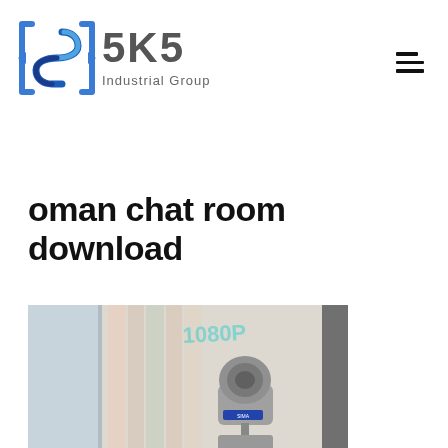[Figure (logo): SKS Industrial Group logo with blue angular S symbol and gray bold SKS text with Industrial Group subtitle]
oman chat room download
[Figure (photo): Photo of what appears to be industrial or security camera equipment, showing a gray/silver robotic-looking device (SIMA branded) in a room setting]